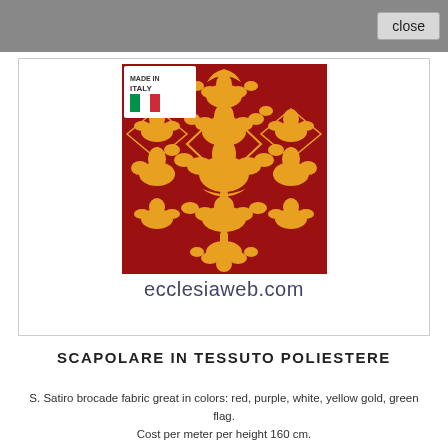[Figure (photo): Red and gold damask brocade fabric swatch with Made in Italy badge/label in the top left corner, displayed on ecclesiaweb.com]
SCAPOLARE IN TESSUTO POLIESTERE
S. Satiro brocade fabric great in colors: red, purple, white, yellow gold, green flag.
Cost per meter per height 160 cm.